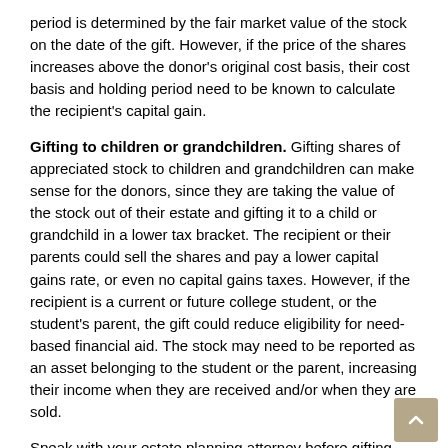period is determined by the fair market value of the stock on the date of the gift. However, if the price of the shares increases above the donor's original cost basis, their cost basis and holding period need to be known to calculate the recipient's capital gain.
Gifting to children or grandchildren. Gifting shares of appreciated stock to children and grandchildren can make sense for the donors, since they are taking the value of the stock out of their estate and gifting it to a child or grandchild in a lower tax bracket. The recipient or their parents could sell the shares and pay a lower capital gains rate, or even no capital gains taxes. However, if the recipient is a current or future college student, or the student's parent, the gift could reduce eligibility for need-based financial aid. The stock may need to be reported as an asset belonging to the student or the parent, increasing their income when they are received and/or when they are sold.
Speak with your estate planning attorney before gifting